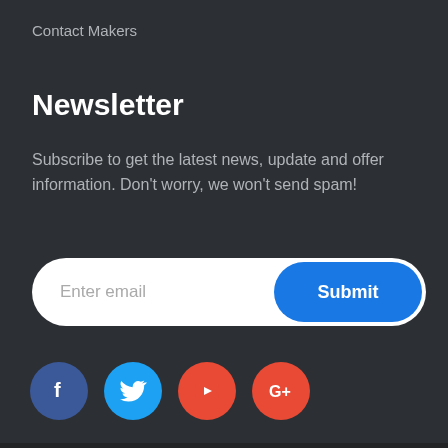Contact Makers
Newsletter
Subscribe to get the latest news, update and offer information. Don't worry, we won't send spam!
[Figure (other): Email subscription form with a text input placeholder 'Enter email' and a blue 'Submit' button]
[Figure (other): Social media icons: Facebook (blue circle with f), Twitter (cyan circle with bird), YouTube (red circle with play button), Google+ (red-orange circle with G+)]